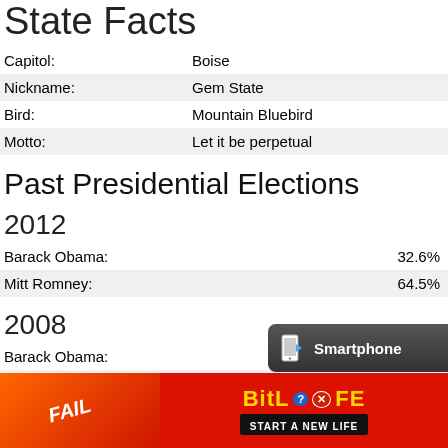State Facts
|  |  |
| --- | --- |
| Capitol: | Boise |
| Nickname: | Gem State |
| Bird: | Mountain Bluebird |
| Motto: | Let it be perpetual |
Past Presidential Elections
2012
|  |  |
| --- | --- |
| Barack Obama: | 32.6% |
| Mitt Romney: | 64.5% |
2008
|  |  |
| --- | --- |
| Barack Obama: | 36.1% |
| John McCain: |  |
2004
[Figure (screenshot): Advertisement banner: BitLife 'Start a New Life' game ad with red/fire background and 'FAIL' text]